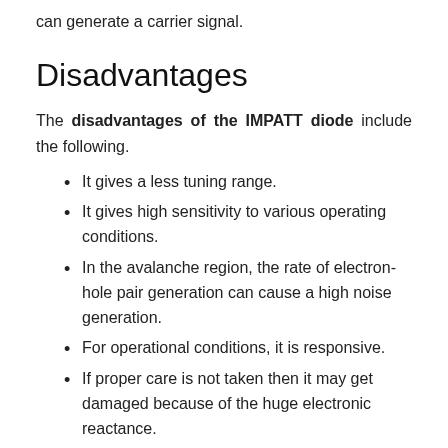can generate a carrier signal.
Disadvantages
The disadvantages of the IMPATT diode include the following.
It gives a less tuning range.
It gives high sensitivity to various operating conditions.
In the avalanche region, the rate of electron-hole pair generation can cause a high noise generation.
For operational conditions, it is responsive.
If proper care is not taken then it may get damaged because of the huge electronic reactance.
As compared to TRAPATT, it provides less efficiency
The IMPATT diode's tuning range is not good like the Gunn diode.